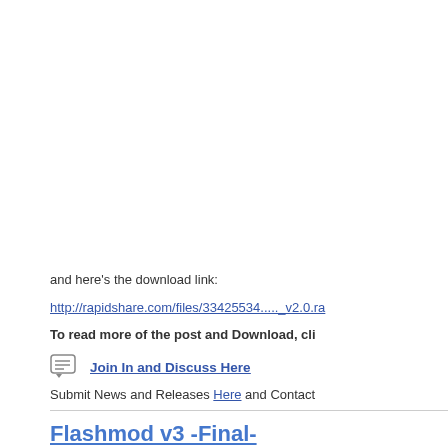and here's the download link:
http://rapidshare.com/files/33425534....._v2.0.ra
To read more of the post and Download, cli
Join In and Discuss Here
Submit News and Releases Here and Contact
Flashmod v3 -Final-